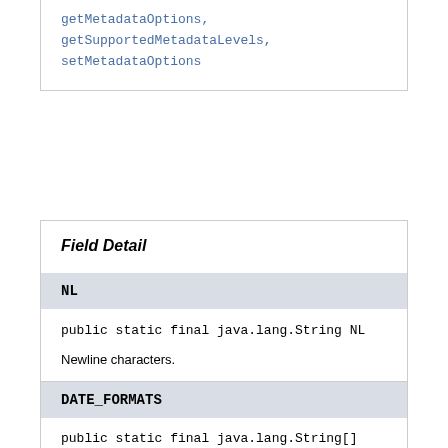getMetadataOptions,
getSupportedMetadataLevels,
setMetadataOptions
Field Detail
NL
public static final java.lang.String NL
Newline characters.
See Also:
Constant Field Values
DATE_FORMATS
public static final java.lang.String[] DATE_FORMA